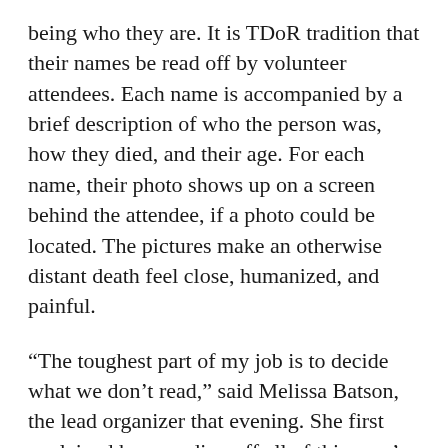being who they are. It is TDoR tradition that their names be read off by volunteer attendees. Each name is accompanied by a brief description of who the person was, how they died, and their age. For each name, their photo shows up on a screen behind the attendee, if a photo could be located. The pictures make an otherwise distant death feel close, humanized, and painful.
“The toughest part of my job is to decide what we don’t read,” said Melissa Batson, the lead organizer that evening. She first explained how reading off all of this year’s 300 names would be an impossible feat for one night.
Many of the names listed Sunday night belonged to people in Brazil. Most of the deaths were brutal